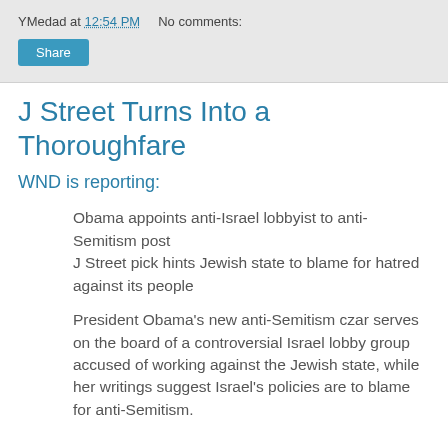YMedad at 12:54 PM   No comments:
J Street Turns Into a Thoroughfare
WND is reporting:
Obama appoints anti-Israel lobbyist to anti-Semitism post
J Street pick hints Jewish state to blame for hatred against its people
President Obama's new anti-Semitism czar serves on the board of a controversial Israel lobby group accused of working against the Jewish state, while her writings suggest Israel's policies are to blame for anti-Semitism.